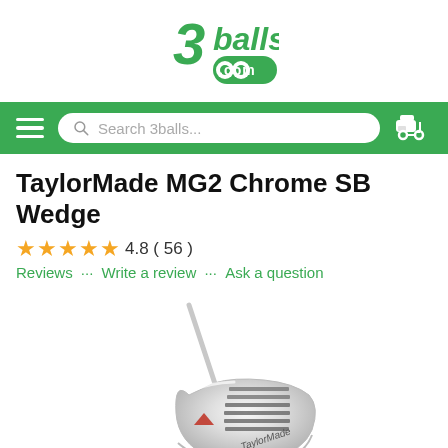[Figure (logo): 3balls.com logo in green decorative font]
Search 3balls...
TaylorMade MG2 Chrome SB Wedge
4.8 ( 56 )
Reviews ··· Write a review ··· Ask a question
[Figure (photo): TaylorMade MG2 Chrome SB Wedge golf club head, chrome finish, on white background]